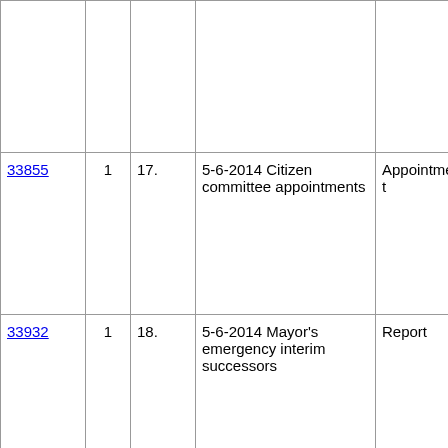| ID | Vol | Item | Description | Type |
| --- | --- | --- | --- | --- |
|  |  |  |  |  |
| 33855 | 1 | 17. | 5-6-2014 Citizen committee appointments | Appointment |
| 33932 | 1 | 18. | 5-6-2014 Mayor's emergency interim successors | Report |
| 33934 | 1 | 19. | 5-6-2014 Madison Food Policy Council appointment | Appointment |
| 33937 | 1 | 20. | 5-20-2014 Citizen committee | Appointment |